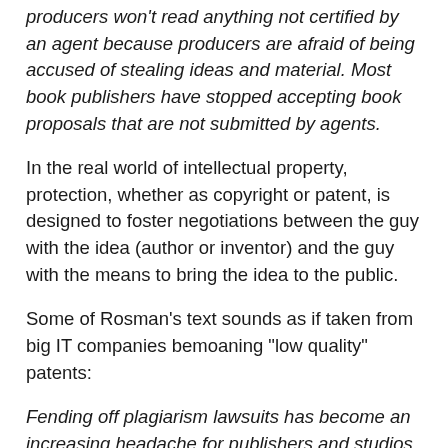producers won't read anything not certified by an agent because producers are afraid of being accused of stealing ideas and material. Most book publishers have stopped accepting book proposals that are not submitted by agents.
In the real world of intellectual property, protection, whether as copyright or patent, is designed to foster negotiations between the guy with the idea (author or inventor) and the guy with the means to bring the idea to the public.
Some of Rosman's text sounds as if taken from big IT companies bemoaning "low quality" patents:
Fending off plagiarism lawsuits has become an increasing headache for publishers and studios. "It's become the cultural version of malpractice," says Kurt Andersen, the novelist and host of public radio's "Studio 360."
(...)
A primary aim of the slush pile used to be to discover unpublished voices. But today, writing talent isn't necessarily